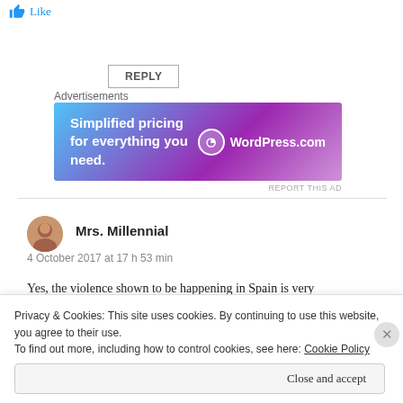Like
REPLY
Advertisements
[Figure (screenshot): WordPress.com advertisement banner: 'Simplified pricing for everything you need.' with WordPress.com logo on gradient blue-purple background]
REPORT THIS AD
Mrs. Millennial
4 October 2017 at 17 h 53 min
Yes, the violence shown to be happening in Spain is very concerning right now. Thank you for bringing some love to
Privacy & Cookies: This site uses cookies. By continuing to use this website, you agree to their use.
To find out more, including how to control cookies, see here: Cookie Policy
Close and accept